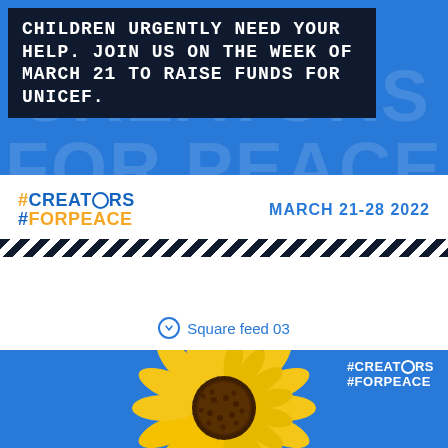[Figure (infographic): Blue banner with dark navy text box containing uppercase white text: CHILDREN URGENTLY NEED YOUR HELP. JOIN US ON THE WEEK OF MARCH 21 TO RAISE FUNDS FOR UNICEF. Large faded white watermark text CREATORS FOR PEACE in background.]
#CREATORS FOR PEACE   MARCH 21-28 2022
↓ Square feed 03
[Figure (infographic): Blue background with a large yellow sunflower in center and white #CREAT0RS #FORPEACE logo in top right corner.]